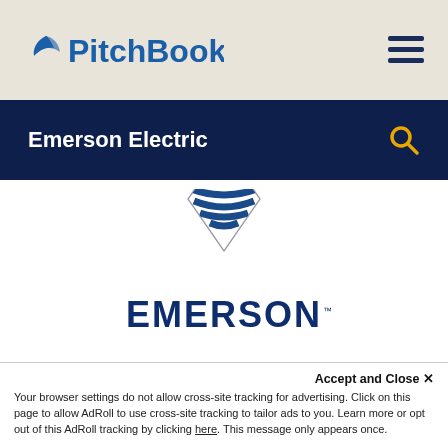PitchBook
Emerson Electric
[Figure (logo): Emerson Electric company logo with diamond-shaped graphic mark above the word EMERSON in bold dark blue with trademark symbol]
Accept and Close ✕
Your browser settings do not allow cross-site tracking for advertising. Click on this page to allow AdRoll to use cross-site tracking to tailor ads to you. Learn more or opt out of this AdRoll tracking by clicking here. This message only appears once.